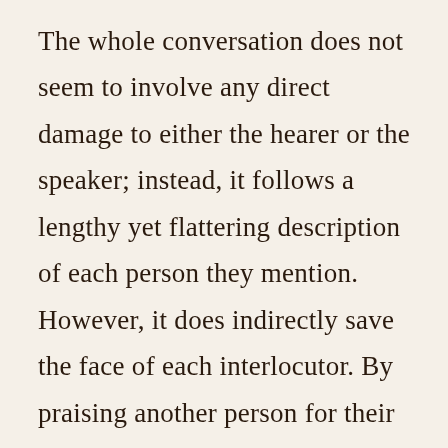The whole conversation does not seem to involve any direct damage to either the hearer or the speaker; instead, it follows a lengthy yet flattering description of each person they mention. However, it does indirectly save the face of each interlocutor. By praising another person for their qualities and characteristics, one can keep their face by associating with such a figure, also showing their abilities to recognize characters'